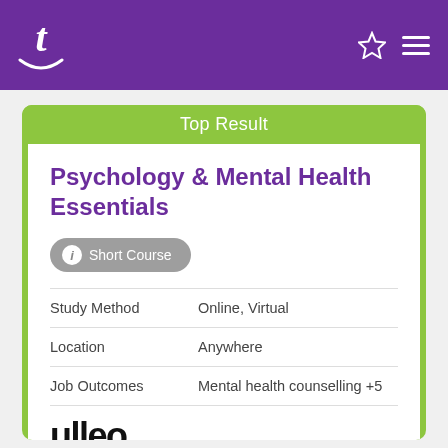t [logo] [star icon] [menu icon]
Top Result
Psychology & Mental Health Essentials
Short Course
| Field | Value |
| --- | --- |
| Study Method | Online, Virtual |
| Location | Anywhere |
| Job Outcomes | Mental health counselling +5 |
[Figure (logo): ulleo logo with tagline 'Industry-led short courses']
View Details >